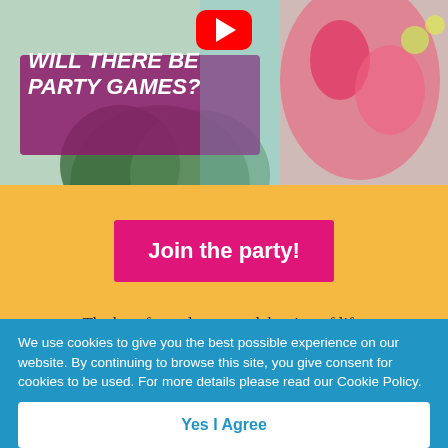[Figure (screenshot): Video thumbnail showing text 'WILL THERE BE PARTY GAMES?' with a YouTube play button overlay, plant and a woman in a colorful floral outfit visible]
Join the party!
The best funerals are a celebration of life.
We use cookies to give you the best possible experience on our website. By continuing to browse this site, you give consent for cookies to be used. For more details please read our Cookie Policy.
Yes I Agree